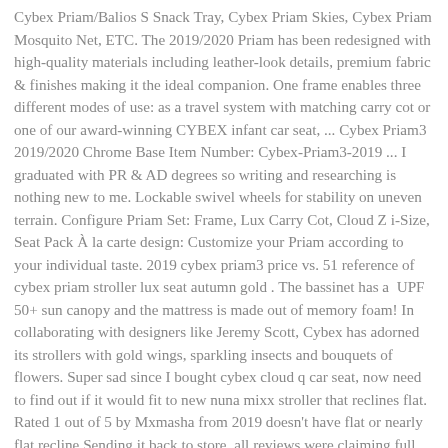Cybex Priam/Balios S Snack Tray, Cybex Priam Skies, Cybex Priam Mosquito Net, ETC. The 2019/2020 Priam has been redesigned with high-quality materials including leather-look details, premium fabric & finishes making it the ideal companion. One frame enables three different modes of use: as a travel system with matching carry cot or one of our award-winning CYBEX infant car seat, ... Cybex Priam3 2019/2020 Chrome Base Item Number: Cybex-Priam3-2019 ... I graduated with PR & AD degrees so writing and researching is nothing new to me. Lockable swivel wheels for stability on uneven terrain. Configure Priam Set: Frame, Lux Carry Cot, Cloud Z i-Size, Seat Pack À la carte design: Customize your Priam according to your individual taste. 2019 cybex priam3 price vs. 51 reference of cybex priam stroller lux seat autumn gold . The bassinet has a UPF 50+ sun canopy and the mattress is made out of memory foam! In collaborating with designers like Jeremy Scott, Cybex has adorned its strollers with gold wings, sparkling insects and bouquets of flowers. Super sad since I bought cybex cloud q car seat, now need to find out if it would fit to new nuna mixx stroller that reclines flat. Rated 1 out of 5 by Mxmasha from 2019 doesn't have flat or nearly flat recline Sending it back to store, all reviews were claiming full recline as 2018 had but eventually in USA we got like 150 degrees max recline strollers. The handlebars are adjustable so no matter